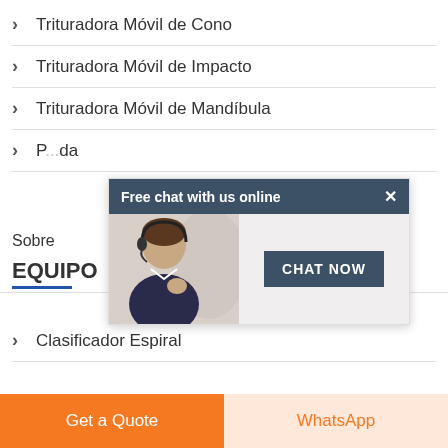Trituradora Móvil de Cono
Trituradora Móvil de Impacto
Trituradora Móvil de Mandíbula
P...da
Sobre
EQUIPO
[Figure (screenshot): Free chat with us online popup overlay showing a customer service agent and a CHAT NOW button]
Clasificador Espiral
Get a Quote
WhatsApp